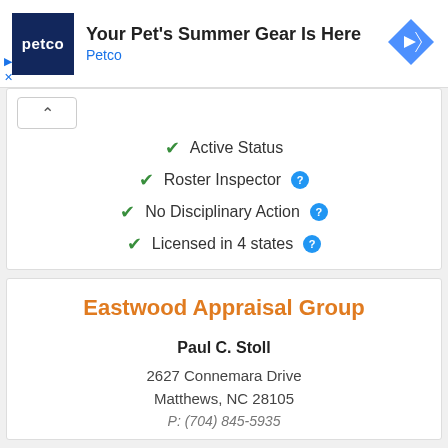[Figure (screenshot): Petco advertisement banner: logo with 'petco' text in white on dark blue background, headline 'Your Pet's Summer Gear Is Here', brand name 'Petco' in blue, blue diamond arrow icon on right]
✔ Active Status
✔ Roster Inspector ❓
✔ No Disciplinary Action ❓
✔ Licensed in 4 states ❓
Eastwood Appraisal Group
Paul C. Stoll
2627 Connemara Drive
Matthews, NC 28105
P: (704) 845-5935